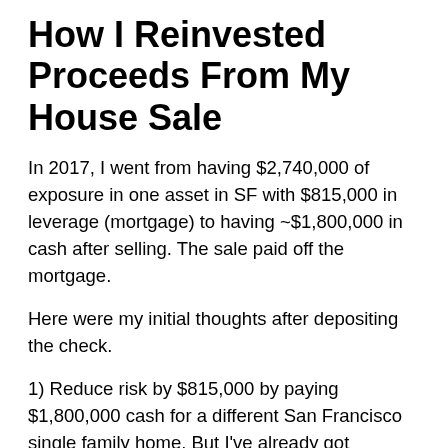How I Reinvested Proceeds From My House Sale
In 2017, I went from having $2,740,000 of exposure in one asset in SF with $815,000 in leverage (mortgage) to having ~$1,800,000 in cash after selling. The sale paid off the mortgage.
Here were my initial thoughts after depositing the check.
1) Reduce risk by $815,000 by paying $1,800,000 cash for a different San Francisco single family home. But I've already got exposure in San Francisco through my primary residence, a rental condo, and a vacation property in Lake Tahoe. So